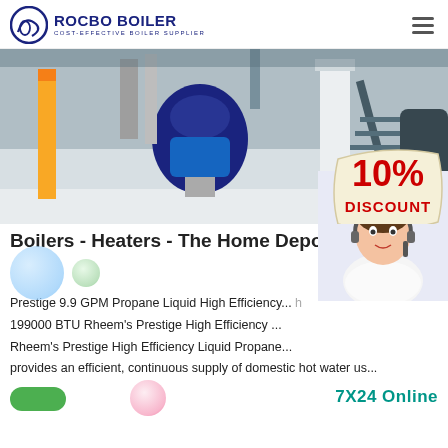ROCBO BOILER — COST-EFFECTIVE BOILER SUPPLIER
[Figure (photo): Industrial boiler room interior with large blue boiler unit, yellow pipes, white columns, and metal staircase. A 10% DISCOUNT badge overlaid at bottom right.]
Boilers - Heaters - The Home Depo...
Prestige 9.9 GPM Propane Liquid High Efficiency... h 199000 BTU Rheem's Prestige High Efficiency ... Rheem's Prestige High Efficiency Liquid Propane... provides an efficient, continuous supply of domestic hot water us...
[Figure (photo): Customer service consultant woman smiling with headset]
7X24 Online